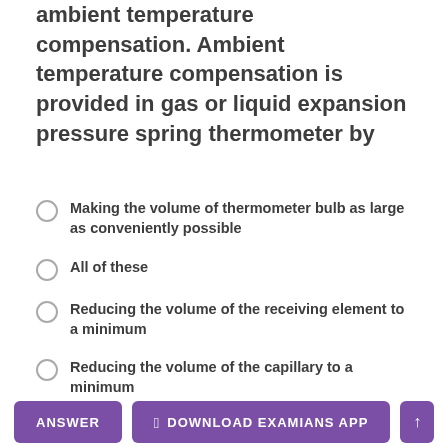ambient temperature compensation. Ambient temperature compensation is provided in gas or liquid expansion pressure spring thermometer by
Making the volume of thermometer bulb as large as conveniently possible
All of these
Reducing the volume of the receiving element to a minimum
Reducing the volume of the capillary to a minimum